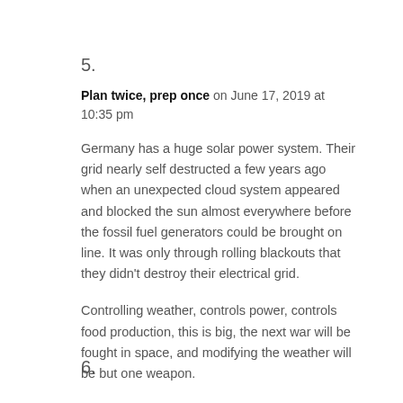5.
Plan twice, prep once on June 17, 2019 at 10:35 pm
Germany has a huge solar power system. Their grid nearly self destructed a few years ago when an unexpected cloud system appeared and blocked the sun almost everywhere before the fossil fuel generators could be brought on line. It was only through rolling blackouts that they didn't destroy their electrical grid.
Controlling weather, controls power, controls food production, this is big, the next war will be fought in space, and modifying the weather will be but one weapon.
6.